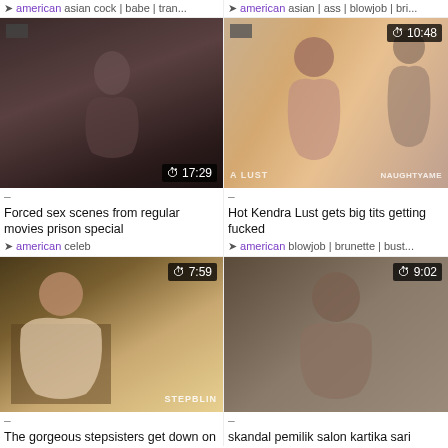american asian cock | babe | tran...
american asian | ass | blowjob | bri...
[Figure (screenshot): Dark video thumbnail showing a figure, duration 17:29]
[Figure (screenshot): Video thumbnail showing a woman and man, watermark NAUGHTYAME, duration 10:48]
–
–
Forced sex scenes from regular movies prison special
Hot Kendra Lust gets big tits getting fucked
american celeb
american blowjob | brunette | bust...
[Figure (screenshot): Video thumbnail with two women in kitchen, watermark STEPBLIN, duration 7:59]
[Figure (screenshot): Video thumbnail showing a woman, duration 9:02]
–
–
The gorgeous stepsisters get down on
skandal pemilik salon kartika sari